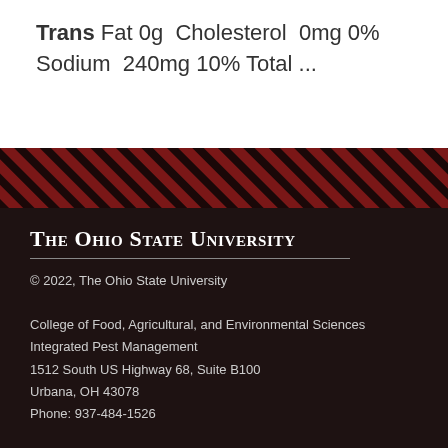Trans Fat 0g  Cholesterol  0mg 0%  Sodium  240mg 10% Total ...
[Figure (illustration): Diagonal red and white stripe decorative band separator]
The Ohio State University
© 2022, The Ohio State University
College of Food, Agricultural, and Environmental Sciences
Integrated Pest Management
1512 South US Highway 68, Suite B100
Urbana, OH 43078
Phone: 937-484-1526